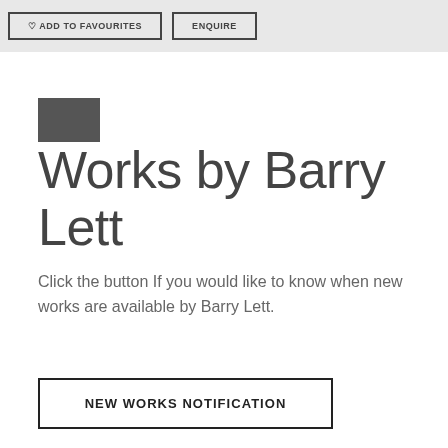♡ ADD TO FAVOURITES   ENQUIRE
Works by Barry Lett
Click the button If you would like to know when new works are available by Barry Lett.
NEW WORKS NOTIFICATION